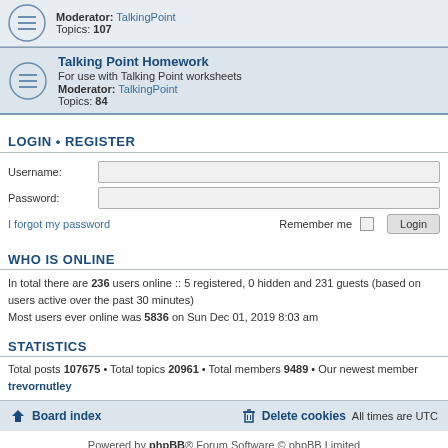Moderator: TalkingPoint
Topics: 107
Talking Point Homework
For use with Talking Point worksheets
Moderator: TalkingPoint
Topics: 84
LOGIN • REGISTER
Username:
Password:
I forgot my password | Remember me | Login
WHO IS ONLINE
In total there are 236 users online :: 5 registered, 0 hidden and 231 guests (based on users active over the past 30 minutes)
Most users ever online was 5836 on Sun Dec 01, 2019 8:03 am
STATISTICS
Total posts 107675 • Total topics 20961 • Total members 9489 • Our newest member trevornutley
Board index | Delete cookies | All times are UTC
Powered by phpBB® Forum Software © phpBB Limited
Privacy | Terms